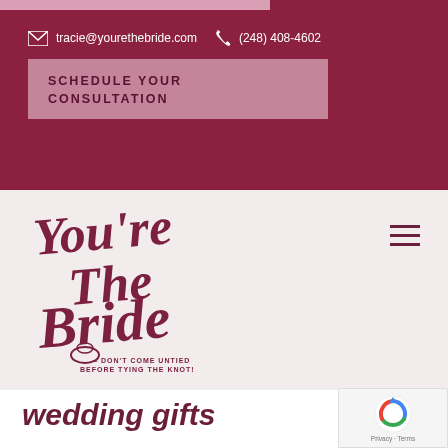tracie@yourethebride.com  (248) 408-4602
SCHEDULE YOUR CONSULTATION
[Figure (logo): You're The Bride script logo with tagline: DON'T COME UNTIED BEFORE TYING THE KNOT!]
wedding gifts
[Figure (other): Google reCAPTCHA badge with Privacy and Terms links]